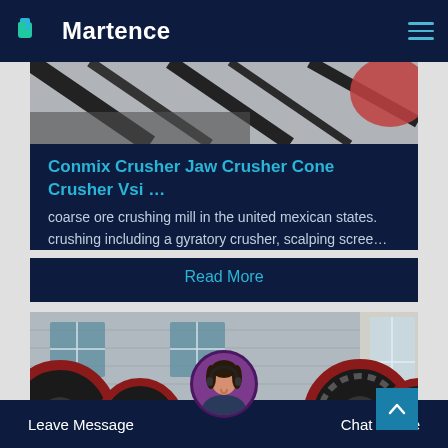Martence
[Figure (photo): Partial view of industrial machinery/crusher equipment — black metal frame visible against blurred background]
Conmix Crusher Jaw Crusher Cone Crusher Vsi ...
coarse ore crushing mill in the united mexican states. crushing including a gyratory crusher, scalping scree…
Read More
[Figure (photo): Industrial jaw crusher machinery with large red-rimmed black wheels/flywheels and a cream/gold body, inside a factory building with corrugated metal walls and windows]
Leave Message  Chat Online